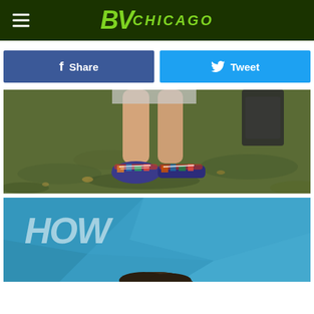BVChicago
f Share
Tweet
[Figure (photo): Close-up photo of a person's legs standing on grass, wearing colorful patterned sneakers. A striped skirt or dress is partially visible, along with a dark bag.]
[Figure (photo): Photo of a person in front of a blue background with partial white text visible. The top of a person's head with dark hair is visible at the bottom of the frame.]